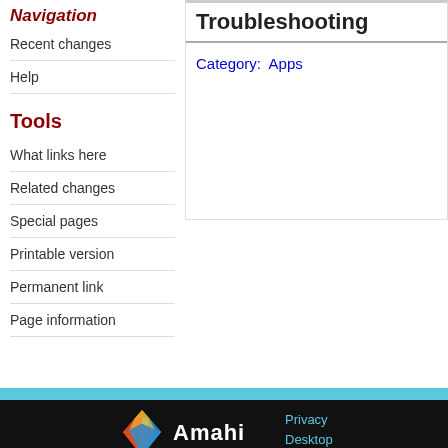Navigation
Recent changes
Help
Tools
What links here
Related changes
Special pages
Printable version
Permanent link
Page information
Troubleshooting
Category:  Apps
[Figure (logo): Amahi colorful gem logo with white text 'Amahi' below, set on black background with cyan bar at top. Footer links: Privacy, Desktop.]